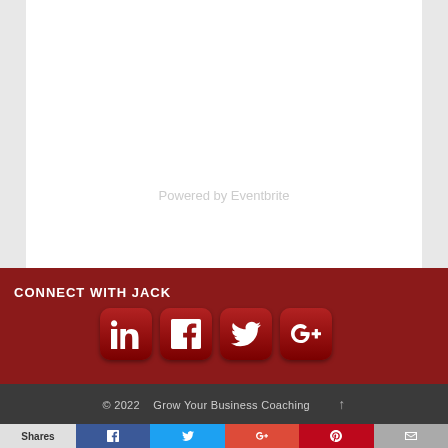Powered by Eventbrite
CONNECT WITH JACK
[Figure (infographic): Social media icon buttons for LinkedIn, Facebook, Feedly/Twitter bird, and Google+ in dark red rounded square style]
© 2022    Grow Your Business Coaching
Shares